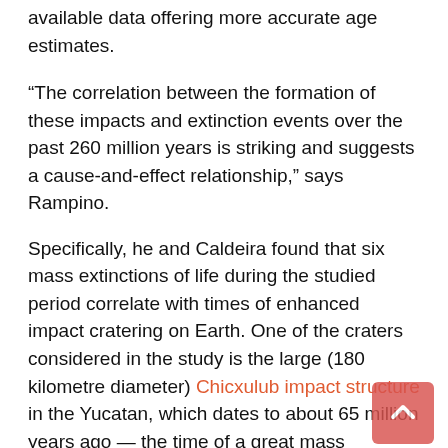available data offering more accurate age estimates.
“The correlation between the formation of these impacts and extinction events over the past 260 million years is striking and suggests a cause-and-effect relationship,” says Rampino.
Specifically, he and Caldeira found that six mass extinctions of life during the studied period correlate with times of enhanced impact cratering on Earth. One of the craters considered in the study is the large (180 kilometre diameter) Chicxulub impact structure in the Yucatan, which dates to about 65 million years ago — the time of a great mass extinction that included the dinosaurs.
Moreover, they add, five out of the six largest impact craters of the last 260 million years on Earth correlate with mass extinction events.
“This cosmic cycle of death and destruction has without a doubt affected the history of life on our planet,” Rampino observes.